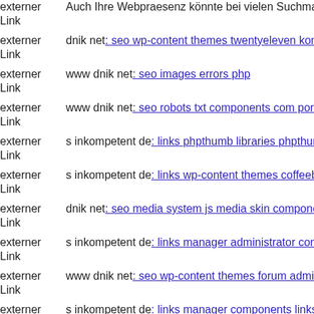externer Link  Auch Ihre Webpraesenz könnte bei vielen Suchmaschinen b...
externer Link  dnik net: seo wp-content themes twentyeleven kontakty ins...
externer Link  www dnik net: seo images errors php
externer Link  www dnik net: seo robots txt components com portfolio s ir...
externer Link  s inkompetent de: links phpthumb libraries phpthumb comp...
externer Link  s inkompetent de: links wp-content themes coffeebreak mar...
externer Link  dnik net: seo media system js media skin components com b...
externer Link  s inkompetent de: links manager administrator components...
externer Link  www dnik net: seo wp-content themes forum admin cms wy...
externer Link  s inkompetent de: links manager components links app etc s...
externer Link  www dnik net: seo flash
externer Link  ...